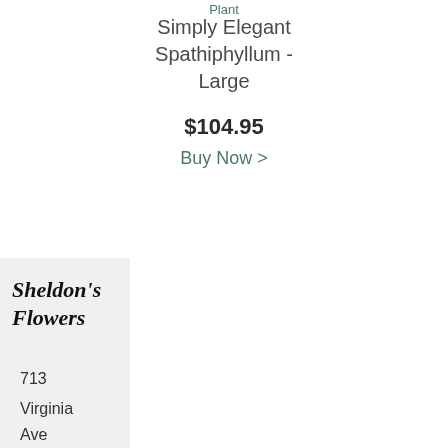Plant
Simply Elegant Spathiphyllum - Large
$104.95
Buy Now >
Sheldon's Flowers
713
Virginia
Ave